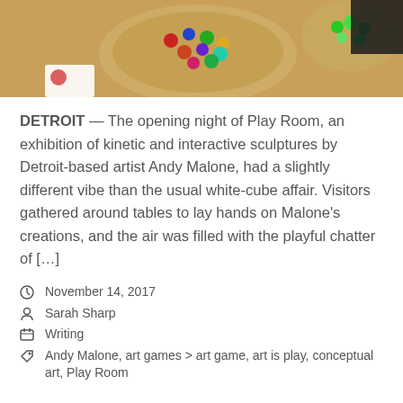[Figure (photo): Photo of colorful marbles/balls in a bowl on a wooden table, viewed from above, with a person visible at the edge]
DETROIT — The opening night of Play Room, an exhibition of kinetic and interactive sculptures by Detroit-based artist Andy Malone, had a slightly different vibe than the usual white-cube affair. Visitors gathered around tables to lay hands on Malone's creations, and the air was filled with the playful chatter of […]
November 14, 2017
Sarah Sharp
Writing
Andy Malone, art games > art game, art is play, conceptual art, Play Room
Read More
“Shoetopia!” at CCS @ CultureSource